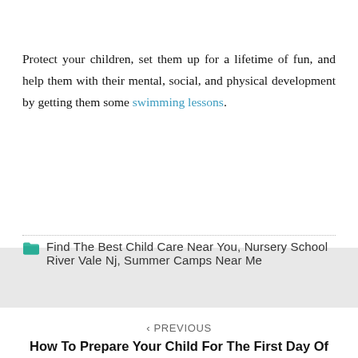Protect your children, set them up for a lifetime of fun, and help them with their mental, social, and physical development by getting them some swimming lessons.
Find The Best Child Care Near You, Nursery School River Vale Nj, Summer Camps Near Me
< PREVIOUS
How To Prepare Your Child For The First Day Of Preschool